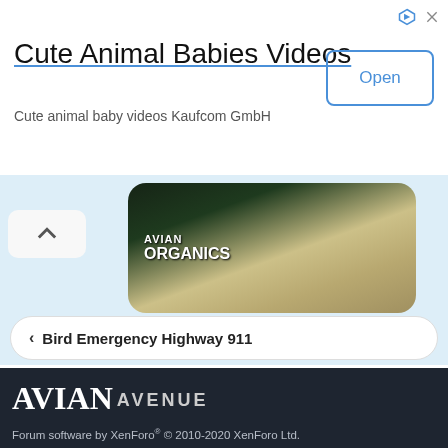[Figure (screenshot): Advertisement banner for Cute Animal Babies Videos app by Kaufcom GmbH with an Open button]
Cute Animal Babies Videos
Cute animal baby videos Kaufcom GmbH
[Figure (screenshot): Avian Organics product banner showing parrots and organic bird food]
< Bird Emergency Highway 911
TERMS AND RULES   PRIVACY POLICY   HELP
[Figure (logo): Avian Avenue forum logo with parrots]
Forum software by XenForo® © 2010-2020 XenForo Ltd.